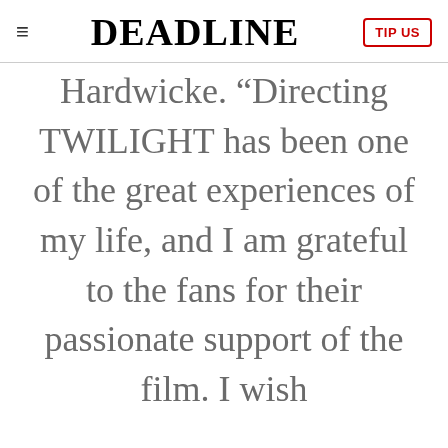DEADLINE
Hardwicke. “Directing TWILIGHT has been one of the great experiences of my life, and I am grateful to the fans for their passionate support of the film. I wish